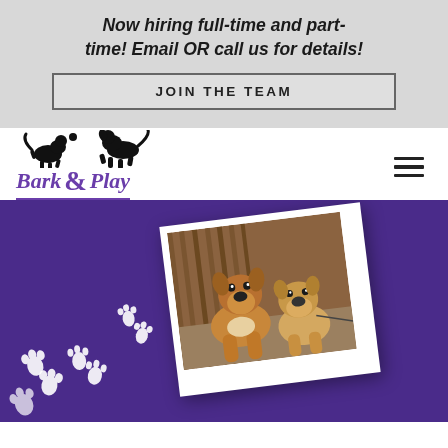Now hiring full-time and part-time! Email OR call us for details!
JOIN THE TEAM
[Figure (logo): Bark & Play logo with two dog silhouettes playing above the text 'Bark & Play' in purple italic serif font with underline, and a hamburger menu icon to the right]
[Figure (photo): Purple background with white paw print trail on the left side and a tilted polaroid-style photo of two dogs (a large tan/brown boxer-type dog and a smaller fawn bulldog) sitting together in front of a wooden door]